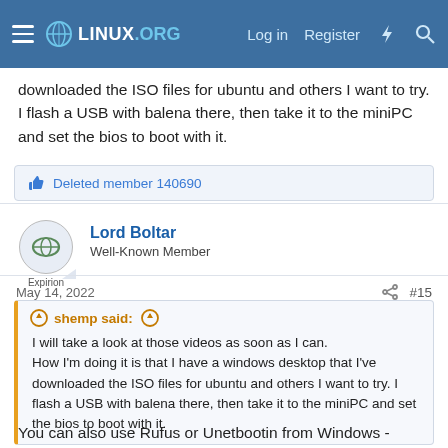LINUX.ORG — Log in | Register
downloaded the ISO files for ubuntu and others I want to try. I flash a USB with balena there, then take it to the miniPC and set the bios to boot with it.
Deleted member 140690
Lord Boltar
Well-Known Member
May 14, 2022
#15
shemp said:
I will take a look at those videos as soon as I can.
How I'm doing it is that I have a windows desktop that I've downloaded the ISO files for ubuntu and others I want to try. I flash a USB with balena there, then take it to the miniPC and set the bios to boot with it.
You can also use Rufus or Unetbootin from Windows - generally